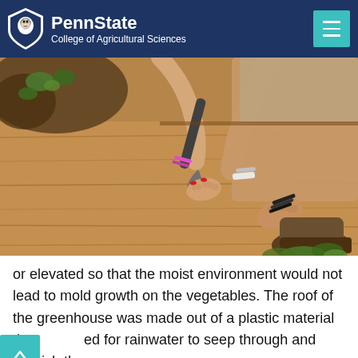PennState College of Agricultural Sciences
[Figure (photo): Close-up of a person's hands using a garden trowel tool on a wooden raised garden bed, with green plants visible in the background. The person is crouching and wearing bracelets and hiking boots.]
or elevated so that the moist environment would not lead to mold growth on the vegetables. The roof of the greenhouse was made out of a plastic material that [scroll button covers text]ed for rainwater to seep through and nourish the